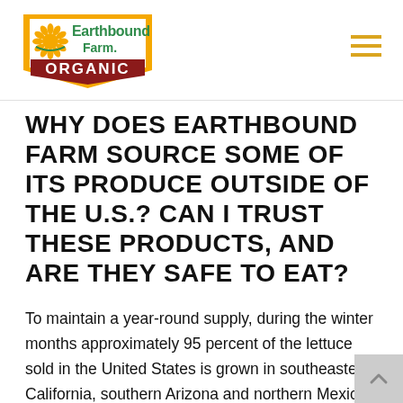[Figure (logo): Earthbound Farm Organic logo — gold pentagon shape with sunflower, green text 'Earthbound Farm.' and red banner with white 'ORGANIC']
WHY DOES EARTHBOUND FARM SOURCE SOME OF ITS PRODUCE OUTSIDE OF THE U.S.? CAN I TRUST THESE PRODUCTS, AND ARE THEY SAFE TO EAT?
To maintain a year-round supply, during the winter months approximately 95 percent of the lettuce sold in the United States is grown in southeastern California, southern Arizona and northern Mexico. With regards to our frozen line, nearly 40